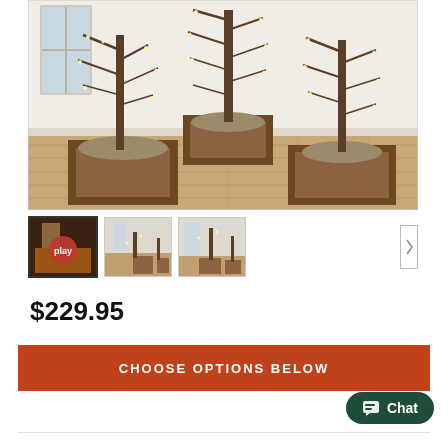[Figure (photo): Three decorative lighted birch twig trees in rustic wooden crates with fur/moss accents, displayed on a wood floor against a white paneled wall with a window]
[Figure (screenshot): Thumbnail 1: video play button overlay with orange circle and 'play' text over a fireplace scene]
[Figure (photo): Thumbnail 2: lighted twig trees in wooden crates in a room with a window]
[Figure (photo): Thumbnail 3: lighted twig tree display closer view]
$229.95
CHOOSE OPTIONS BELOW
Chat